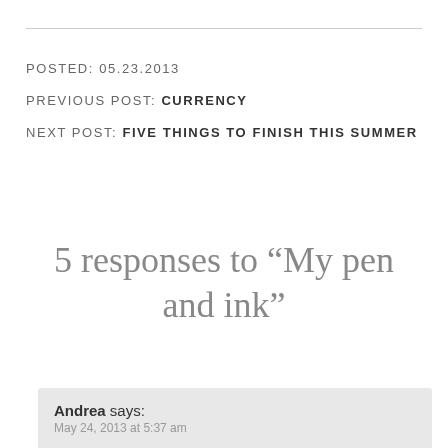POSTED: 05.23.2013
PREVIOUS POST: CURRENCY
NEXT POST: FIVE THINGS TO FINISH THIS SUMMER
5 responses to “My pen and ink”
Andrea says:
May 24, 2013 at 5:37 am
Lovely!